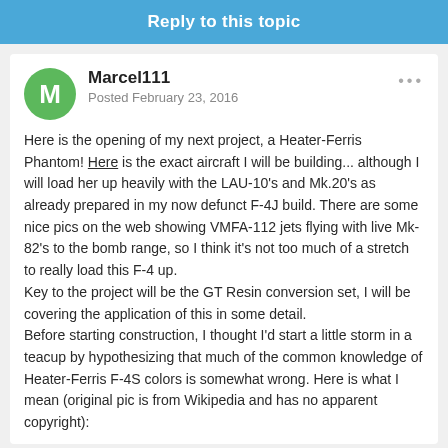Reply to this topic
Marcel111
Posted February 23, 2016
Here is the opening of my next project, a Heater-Ferris Phantom! Here is the exact aircraft I will be building... although I will load her up heavily with the LAU-10's and Mk.20's as already prepared in my now defunct F-4J build. There are some nice pics on the web showing VMFA-112 jets flying with live Mk-82's to the bomb range, so I think it's not too much of a stretch to really load this F-4 up.
Key to the project will be the GT Resin conversion set, I will be covering the application of this in some detail.
Before starting construction, I thought I'd start a little storm in a teacup by hypothesizing that much of the common knowledge of Heater-Ferris F-4S colors is somewhat wrong. Here is what I mean (original pic is from Wikipedia and has no apparent copyright):
[Figure (photo): Bottom portion of a photo or diagram showing an F-4 Phantom aircraft with color scheme reference text columns on the left side, dark background, plane silhouette visible at right.]